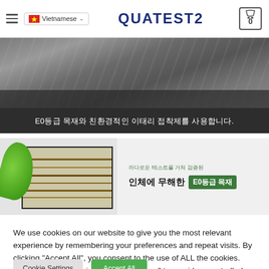Vietnamese | QUATEST2 | 0
[Figure (photo): Dark interior room with flooring and furniture banner with Korean text: E0등급 목재와 친환경적인 이태리 접착제를 사용합니다.]
[Figure (photo): Wood flooring sample and green plant banner with Korean text: 까다로운 테스트를 거쳐 검증된 인체에 무해한 E0등급 목재]
We use cookies on our website to give you the most relevant experience by remembering your preferences and repeat visits. By clicking "Accept All", you consent to the use of ALL the cookies. However, you may visit "Cookie Settings" to provide a controlled consent.
Cookie Settings | Accept All